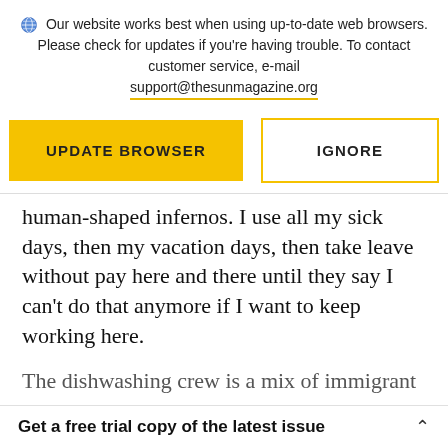Our website works best when using up-to-date web browsers. Please check for updates if you're having trouble. To contact customer service, e-mail support@thesunmagazine.org
[Figure (other): Two buttons: 'UPDATE BROWSER' (yellow filled) and 'IGNORE' (yellow outlined)]
human-shaped infernos. I use all my sick days, then my vacation days, then take leave without pay here and there until they say I can't do that anymore if I want to keep working here.
The dishwashing crew is a mix of immigrant
Get a free trial copy of the latest issue